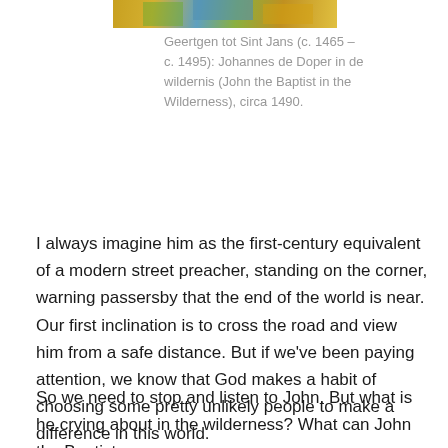[Figure (photo): Top portion of a painting showing colorful details, partially cropped at the top of the page]
Geertgen tot Sint Jans (c. 1465 – c. 1495): Johannes de Doper in de wildernis (John the Baptist in the Wilderness), circa 1490.
I always imagine him as the first-century equivalent of a modern street preacher, standing on the corner, warning passersby that the end of the world is near. Our first inclination is to cross the road and view him from a safe distance. But if we've been paying attention, we know that God makes a habit of choosing some pretty unlikely people to make a difference in this world.
So we need to stop and listen to John. But what is he crying about in the wilderness? What can John the Baptist tell us about the Second Coming and participating the